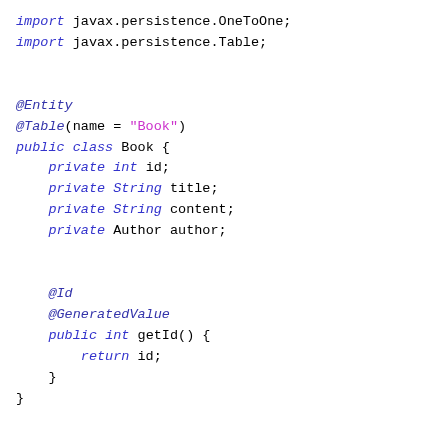import javax.persistence.OneToOne;
import javax.persistence.Table;

@Entity
@Table(name = "Book")
public class Book {
    private int id;
    private String title;
    private String content;
    private Author author;

    @Id
    @GeneratedValue
    public int getId() {
        return id;
    }
}